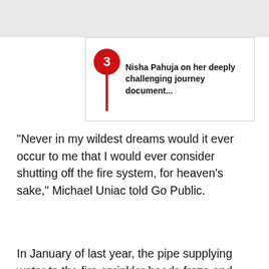[Figure (other): Red map pin / location marker icon with number 3]
Nisha Pahuja on her deeply challenging journey document...
"Never in my wildest dreams would it ever occur to me that I would ever consider shutting off the fire system, for heaven's sake," Michael Uniac told Go Public.
In January of last year, the pipe supplying water to the fire sprinkler heads froze and burst, severely damaging all four levels of the home.
"I was speechless," Diane Uniac said.
"There was insulation hanging down and walls hanging down and ceiling fans. It was just shocking."
Please know that cookies are required to operate and enhance our services as well as for advertising purposes. We value your privacy. If you are not comfortable with us using this information, please review your settings before continuing your visit.
Learn more
✕ Close